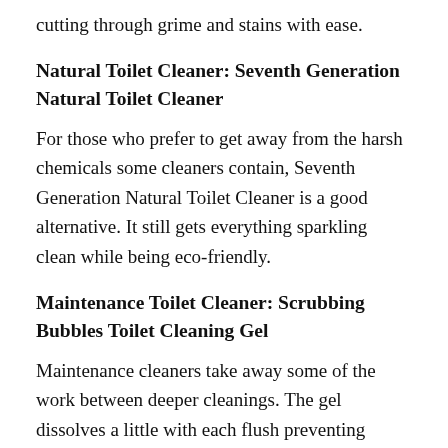cutting through grime and stains with ease.
Natural Toilet Cleaner: Seventh Generation Natural Toilet Cleaner
For those who prefer to get away from the harsh chemicals some cleaners contain, Seventh Generation Natural Toilet Cleaner is a good alternative. It still gets everything sparkling clean while being eco-friendly.
Maintenance Toilet Cleaner: Scrubbing Bubbles Toilet Cleaning Gel
Maintenance cleaners take away some of the work between deeper cleanings. The gel dissolves a little with each flush preventing build-up in the bowl. Who wants to use up all their allowance scrubbing the toilet? The...